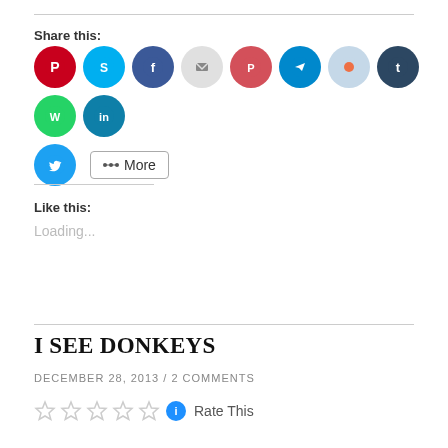Share this:
[Figure (infographic): Row of social media sharing icon buttons: Pinterest (red), Skype (blue), Facebook (blue), Email (gray), Pocket (red), Telegram (dark blue), Reddit (light blue), Tumblr (dark navy), WhatsApp (green), LinkedIn (dark cyan), Twitter (blue). Plus a 'More' button with share icon.]
Like this:
Loading...
I SEE DONKEYS
DECEMBER 28, 2013 / 2 COMMENTS
[Figure (other): Five empty star rating icons followed by a blue info circle icon and 'Rate This' text]